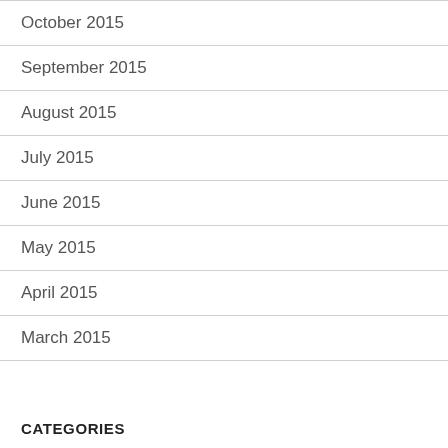October 2015
September 2015
August 2015
July 2015
June 2015
May 2015
April 2015
March 2015
CATEGORIES